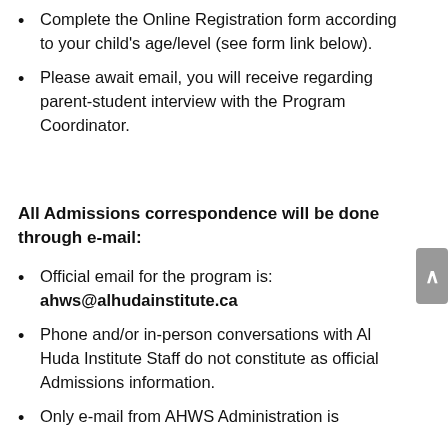Complete the Online Registration form according to your child's age/level (see form link below).
Please await email, you will receive regarding parent-student interview with the Program Coordinator.
All Admissions correspondence will be done through e-mail:
Official email for the program is: ahws@alhudainstitute.ca
Phone and/or in-person conversations with Al Huda Institute Staff do not constitute as official Admissions information.
Only e-mail from AHWS Administration is...